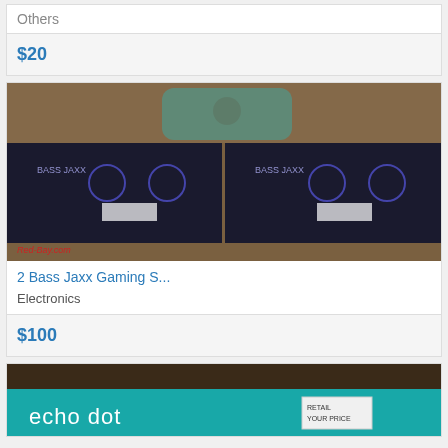Others
$20
[Figure (photo): Two Bass Jaxx gaming speaker boxes stacked on a countertop with a teal Bluetooth speaker on top. Red-Bay.com watermark visible.]
2 Bass Jaxx Gaming S...
Electronics
$100
[Figure (photo): Echo dot box in teal color with white text reading 'echo dot', partially visible with a small label sticker.]